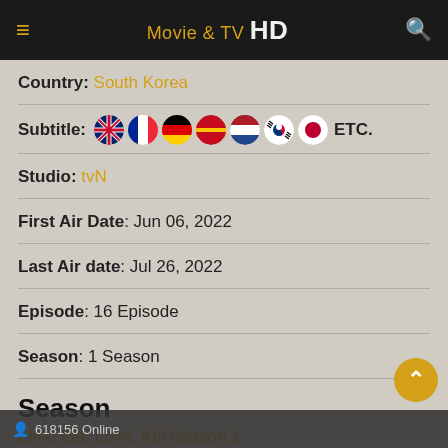Movie & TV HD
Country: South Korea
Subtitle: [flags: UK, France, Germany, Spain, Netherlands, South Korea, Japan] ETC.
Studio: tvN
First Air Date: Jun 06, 2022
Last Air date: Jul 26, 2022
Episode: 16 Episode
Season: 1 Season
Season
Link: Eat, Love, Kill Season 1
618156 Online